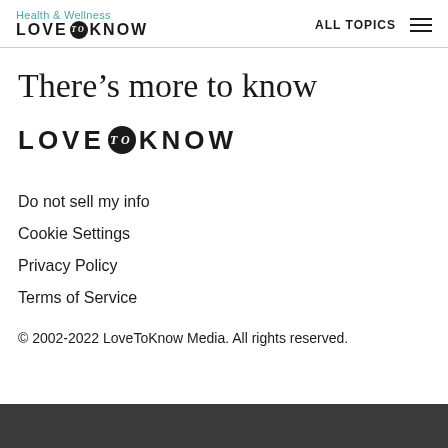Health & Wellness LOVE to KNOW — ALL TOPICS
There’s more to know
[Figure (logo): LoveToKnow logo — LOVE [circle with 'to'] KNOW in large bold uppercase letters]
Do not sell my info
Cookie Settings
Privacy Policy
Terms of Service
© 2002-2022 LoveToKnow Media. All rights reserved.